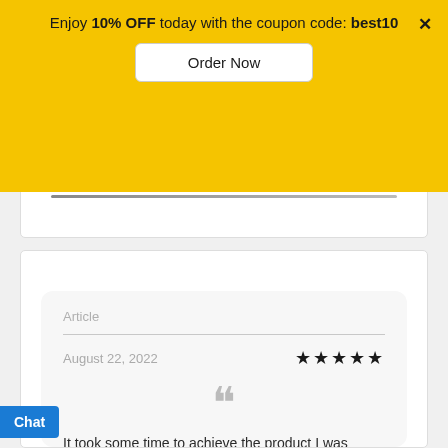Enjoy 10% OFF today with the coupon code: best10
Order Now
Article
August 22, 2022
★★★★★
It took some time to achieve the product I was looking for, but we eventually got there. I do feel like a lot of hard work was put into this.
Chat